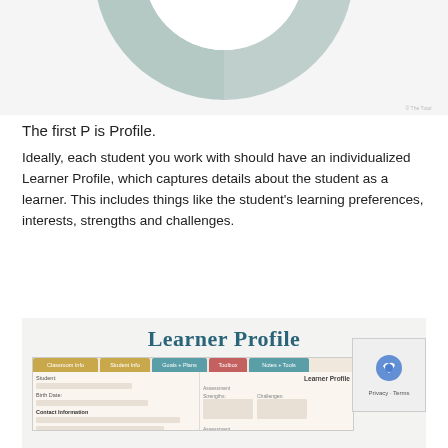[Figure (infographic): Partial donut/ring diagram showing IMPACT in the center with segments labeled PARTNERSHIP and PROGRESS in muted teal/sage colors, partially visible at top of page.]
The first P is Profile.
Ideally, each student you work with should have an individualized Learner Profile, which captures details about the student as a learner. This includes things like the student’s learning preferences, interests, strengths and challenges.
[Figure (screenshot): Screenshot of a digital Learner Profile document/template with colorful tabs (Classroom Info, Student Info, Goals + Plans, Toolbox, Notes + Tools) and fields for student information, with 'Learner Profile' heading visible. A CAPTCHA widget partially overlays the bottom right corner.]